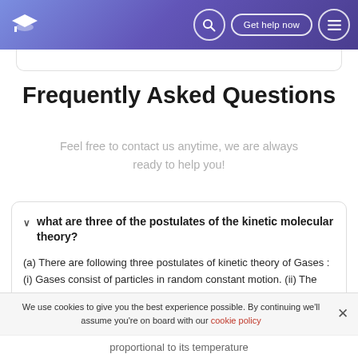Frequently Asked Questions — FAQ page header with logo, search icon, Get help now button, and menu icon
Frequently Asked Questions
Feel free to contact us anytime, we are always ready to help you!
what are three of the postulates of the kinetic molecular theory?
(a) There are following three postulates of kinetic theory of Gases : (i) Gases consist of particles in random constant motion. (ii) The pressure of the gas
We use cookies to give you the best experience possible. By continuing we'll assume you're on board with our cookie policy
proportional to its temperature